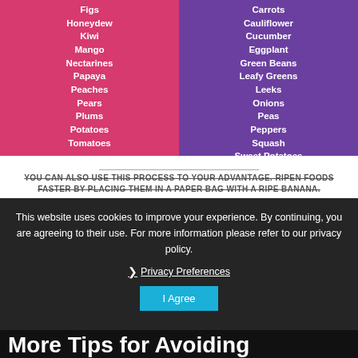Figs
Honeydew
Kiwi
Mango
Nectarines
Papaya
Peaches
Pears
Plums
Potatoes
Tomatoes
Carrots
Cauliflower
Cucumber
Eggplant
Green Beans
Leafy Greens
Leeks
Onions
Peas
Peppers
Squash
Sweet Potatoes
Watermelon
YOU CAN ALSO USE THIS PROCESS TO YOUR ADVANTAGE. RIPEN FOODS FASTER BY PLACING THEM IN A PAPER BAG WITH A RIPE BANANA.
This website uses cookies to improve your experience. By continuing, you are agreeing to their use. For more information please refer to our privacy policy.
❯ Privacy Preferences
I Agree
More Tips for Avoiding